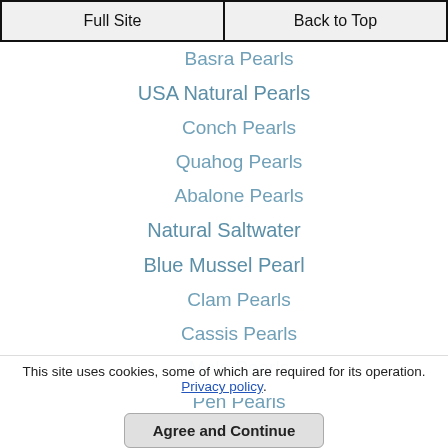Full Site | Back to Top
Basra Pearls
USA Natural Pearls
Conch Pearls
Quahog Pearls
Abalone Pearls
Natural Saltwater
Blue Mussel Pearl
Clam Pearls
Cassis Pearls
Melo Pearls
Pen Pearls
Natural Blister Pearls
Scallop Pearls
Shipwreck Pearls
This site uses cookies, some of which are required for its operation. Privacy policy.
Agree and Continue